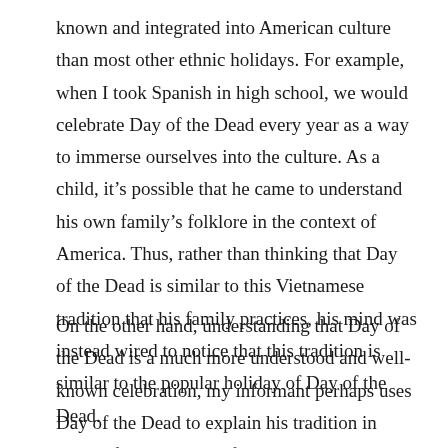known and integrated into American culture than most other ethnic holidays. For example, when I took Spanish in high school, we would celebrate Day of the Dead every year as a way to immerse ourselves into the culture. As a child, it's possible that he came to understand his own family's folklore in the context of America. Thus, rather than thinking that Day of the Dead is similar to this Vietnamese tradition that his family practices, his mind was instead wired to notice that this tradition is similar to the popular holiday of Day of the Dead.
On the other hand, understanding that Day of the Dead is a much more understood and well-known celebration, my informant perhaps uses Day of the Dead to explain his tradition in terms of other peoples folklore to help it be better understood. His way of introducing it as a Vietnamese version of the Day of the Dead could be in